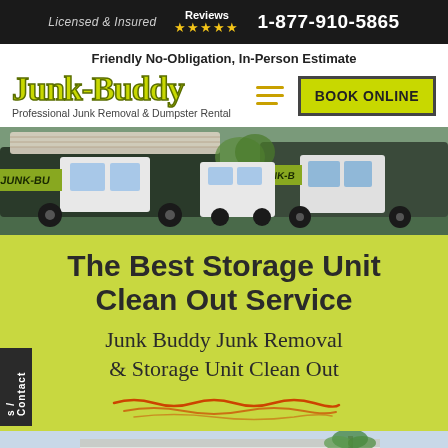Licensed & Insured   Reviews ★★★★★   1-877-910-5865
Friendly No-Obligation, In-Person Estimate
Junk-Buddy
Professional Junk Removal & Dumpster Rental
BOOK ONLINE
[Figure (photo): Junk-Buddy trucks loaded with junk items, parked outdoors]
The Best Storage Unit Clean Out Service
Junk Buddy Junk Removal & Storage Unit Clean Out
[Figure (illustration): Decorative squiggle underline illustration]
s / Contact
[Figure (photo): Exterior photo of a storage facility building]